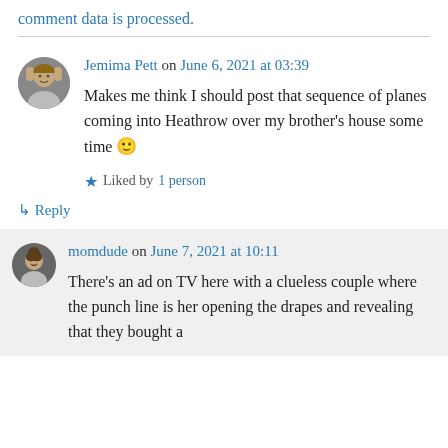comment data is processed.
Jemima Pett on June 6, 2021 at 03:39
Makes me think I should post that sequence of planes coming into Heathrow over my brother's house some time 🙂
Liked by 1 person
↳ Reply
momdude on June 7, 2021 at 10:11
There's an ad on TV here with a clueless couple where the punch line is her opening the drapes and revealing that they bought a